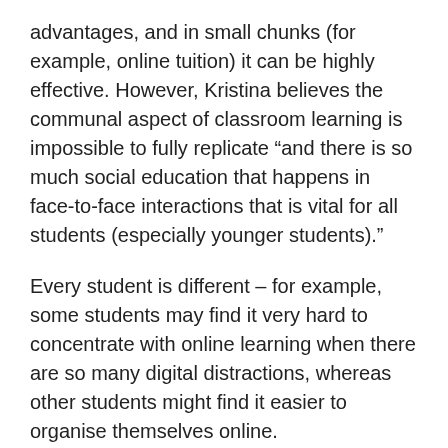advantages, and in small chunks (for example, online tuition) it can be highly effective. However, Kristina believes the communal aspect of classroom learning is impossible to fully replicate “and there is so much social education that happens in face-to-face interactions that is vital for all students (especially younger students).”
Every student is different – for example, some students may find it very hard to concentrate with online learning when there are so many digital distractions, whereas other students might find it easier to organise themselves online.
But there are lots of advantages to online learning. For example, less confident students might be more willing to participate in a virtual environment. “They